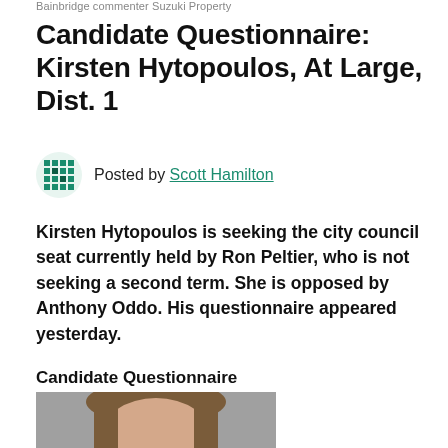Bainbridge commenter Suzuki Property
Candidate Questionnaire: Kirsten Hytopoulos, At Large, Dist. 1
Posted by Scott Hamilton
Kirsten Hytopoulos is seeking the city council seat currently held by Ron Peltier, who is not seeking a second term. She is opposed by Anthony Oddo. His questionnaire appeared yesterday.
Candidate Questionnaire
[Figure (photo): Headshot photo of Kirsten Hytopoulos, a woman with brown shoulder-length hair, against a gray background.]